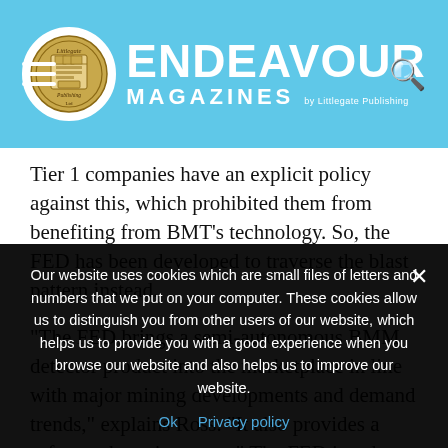Endeavour Magazines by Littlegate Publishing
Tier 1 companies have an explicit policy against this, which prohibited them from benefiting from BMT's technology. So, the FED has been developed to traverse the blast pattern instead.
“The FED brings a semi-autonomous BMM detector product into the marketplace in line with major mining developments and demand trends,” explains Ross. “It also provides a safer work environment.” The FED is a drone that has been
Our website uses cookies which are small files of letters and numbers that we put on your computer. These cookies allow us to distinguish you from other users of our website, which helps us to provide you with a good experience when you browse our website and also helps us to improve our website.
Ok   Privacy policy